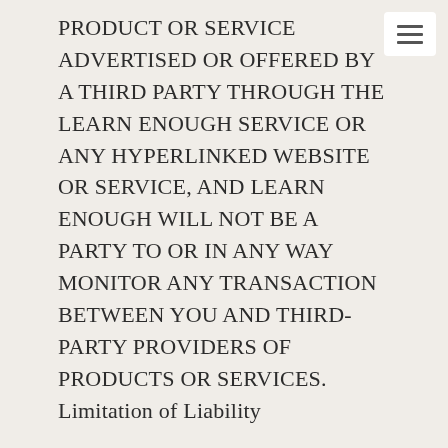PRODUCT OR SERVICE ADVERTISED OR OFFERED BY A THIRD PARTY THROUGH THE LEARN ENOUGH SERVICE OR ANY HYPERLINKED WEBSITE OR SERVICE, AND LEARN ENOUGH WILL NOT BE A PARTY TO OR IN ANY WAY MONITOR ANY TRANSACTION BETWEEN YOU AND THIRD-PARTY PROVIDERS OF PRODUCTS OR SERVICES. Limitation of Liability
TO THE MAXIMUM EXTENT PERMITTED BY APPLICABLE LAW, IN NO EVENT SHALL LEARN ENOUGH, ITS AFFILIATES, AGENTS, DIRECTORS, EMPLOYEES, SUPPLIERS OR LICENSORS BE LIABLE FOR ANY INDIRECT, PUNITIVE, INCIDENTAL, SPECIAL, CONSEQUENTIAL OR EXEMPLARY DAMAGES, INCLUDING WITHOUT LIMITATION DAMAGES FOR LOSS OF PROFITS, GOODWILL, USE